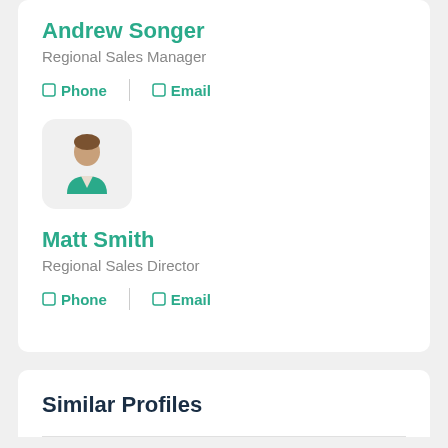Andrew Songer
Regional Sales Manager
Phone  Email
[Figure (illustration): Generic person/contact avatar icon with teal shirt on light grey rounded square background]
Matt Smith
Regional Sales Director
Phone  Email
Similar Profiles